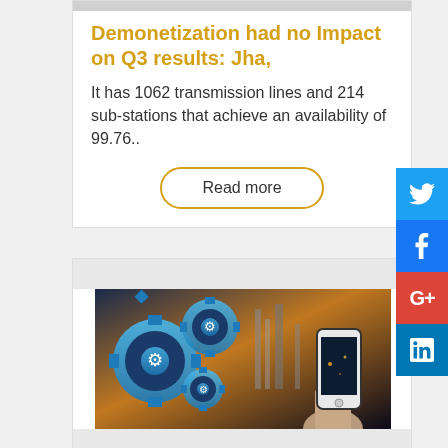Demonetization had no Impact on Q3 results: Jha,
It has 1062 transmission lines and 214 sub-stations that achieve an availability of 99.76..
Read more
[Figure (photo): Image showing blue gear icons with industrial/factory background and a hand holding a smartphone]
Industry 4.0 necessary to hike